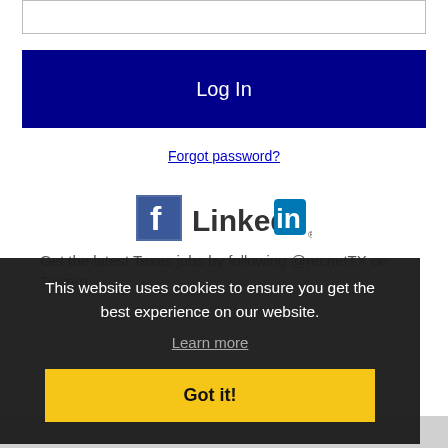[Figure (screenshot): Input text field (password field)]
Log In
Forgot password?
[Figure (logo): Facebook logo (blue F icon) and LinkedIn logo]
Get the latest Texas jobs by following @recnetTX on Twitter!
This website uses cookies to ensure you get the best experience on our website.
Learn more
Got it!